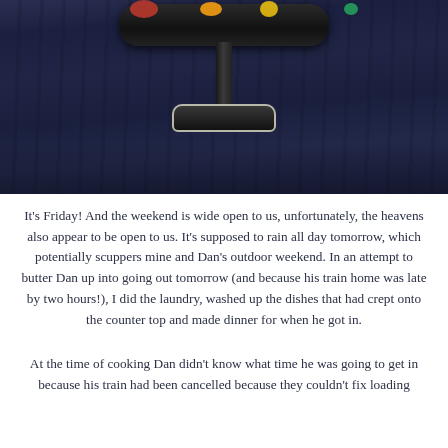[Figure (photo): A dark blue-toned photograph of a cake stand or serving platter viewed from above/front, with the pedestal base visible, on a dark wooden surface. Colorful food items are partially visible at the top edge.]
It's Friday! And the weekend is wide open to us, unfortunately, the heavens also appear to be open to us. It's supposed to rain all day tomorrow, which potentially scuppers mine and Dan's outdoor weekend. In an attempt to butter Dan up into going out tomorrow (and because his train home was late by two hours!), I did the laundry, washed up the dishes that had crept onto the counter top and made dinner for when he got in.
At the time of cooking Dan didn't know what time he was going to get in because his train had been cancelled because they couldn't fix loading (I presume, or something else the shouldn't have been done)